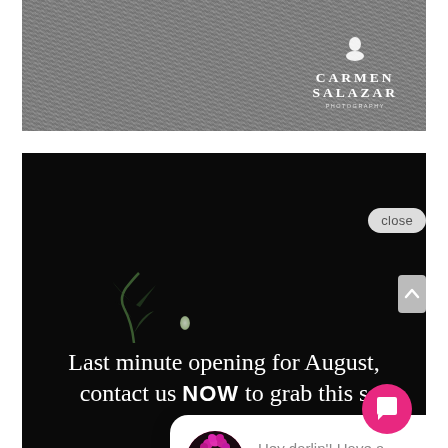[Figure (photo): Black and white photo of fur texture (close-up), with Carmen Salazar photography logo in white text on the right side]
[Figure (photo): Dark/black background photo with a small illuminated plant or tree visible, overlaid with a chat popup bubble]
close
Hey darlin'! Have a question? Text me here!
Last minute opening for August, contact us NOW to grab this s